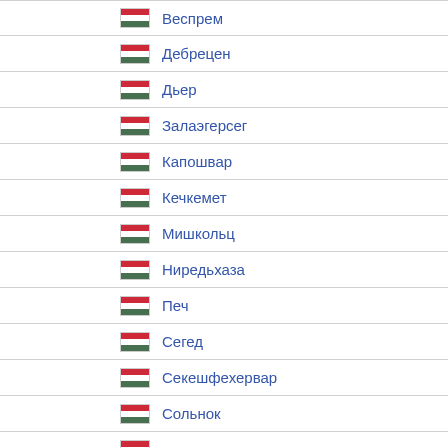Веспрем
Дебрецен
Дьер
Залаэгерсег
Капошвар
Кечкемет
Мишкольц
Ниредьхаза
Печ
Сегед
Секешфехервар
Сольнок
…